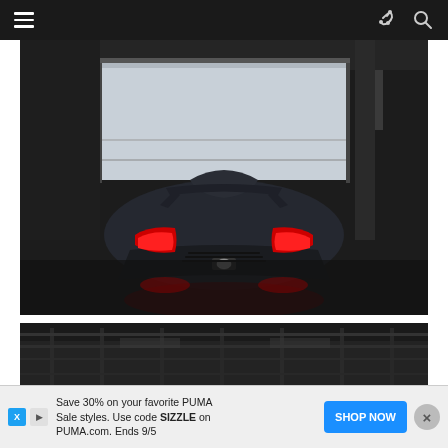Navigation bar with hamburger menu, share and search icons
[Figure (photo): Rear view of a dark-colored supercar (appears to be a hypercar/concept car) parked in a garage/pit lane setting with a large roller door open behind it revealing a racetrack. The car features distinctive red taillights and aggressive aerodynamic bodywork.]
[Figure (photo): Partial view of a second car image showing a dark industrial interior with exposed ceiling structure, appears to be another angle or different car in same garage setting.]
Save 30% on your favorite PUMA Sale styles. Use code SIZZLE on PUMA.com. Ends 9/5